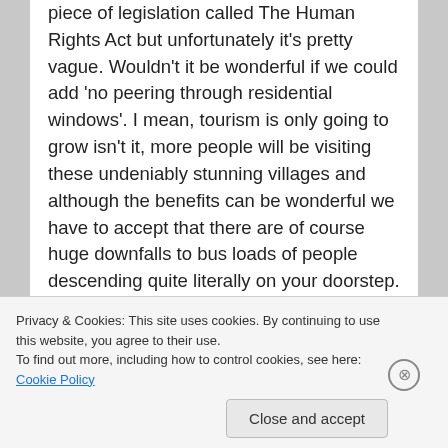piece of legislation called The Human Rights Act but unfortunately it's pretty vague. Wouldn't it be wonderful if we could add 'no peering through residential windows'. I mean, tourism is only going to grow isn't it, more people will be visiting these undeniably stunning villages and although the benefits can be wonderful we have to accept that there are of course huge downfalls to bus loads of people descending quite literally on your doorstep. Unless you are in that situation daily and are even having to deal with foul mouthed tourists, I don't really think we can give direction on how to handle it all.
So, the tour companies rake in all the cash and the residents of the tour trail get nowt. Hmmmm, something doesn't concern/said to me
Privacy & Cookies: This site uses cookies. By continuing to use this website, you agree to their use.
To find out more, including how to control cookies, see here: Cookie Policy